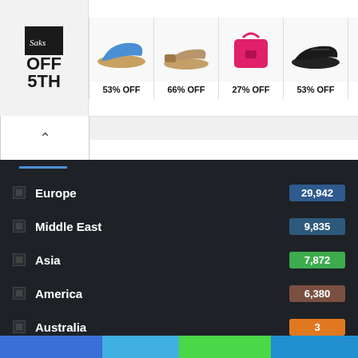[Figure (screenshot): Saks OFF 5TH advertisement banner showing logo and 5 product items with discounts: 53% OFF shoes, 66% OFF sandals, 27% OFF pink handbag, 53% OFF black sneakers, 57% OFF patterned bag]
[Figure (infographic): Regional data list on dark background showing regions with values: Europe 29,942; Middle East 9,835; Asia 7,872; America 6,380; Australia 3; Uncategorized 2; Africa 1]
Europe 29,942
Middle East 9,835
Asia 7,872
America 6,380
Australia 3
Uncategorized 2
Africa 1